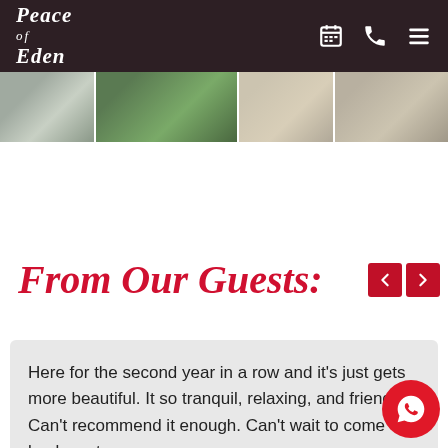Peace of Eden
[Figure (photo): Four image strip showing nature and newspaper clippings related to Peace of Eden]
SHARE THIS POST
From Our Guests:
Here for the second year in a row and it's just gets more beautiful. It so tranquil, relaxing, and friendly. Can't recommend it enough. Can't wait to come back next y...